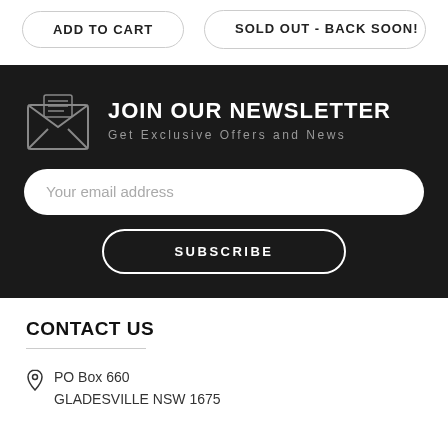ADD TO CART
SOLD OUT - BACK SOON!
JOIN OUR NEWSLETTER
Get Exclusive Offers and News
Your email address
SUBSCRIBE
CONTACT US
PO Box 660
GLADESVILLE NSW 1675